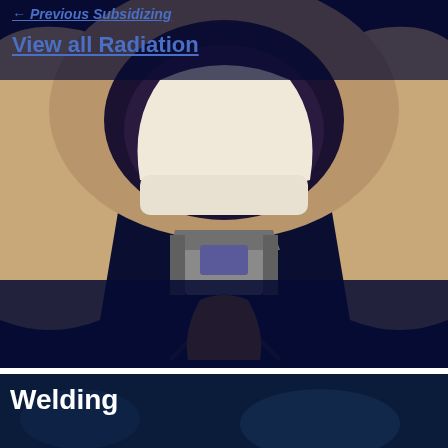[Figure (photo): CT scanner machine viewed from inside the bore, showing the circular opening and patient support/headrest equipment with warm beige/orange casing. The image has a dark navy overlay at top and bottom, with the medical equipment visible in the center.]
← Previous Subsidizing
View all Radiation
[Figure (photo): Welding section banner with dark blue background, showing the title 'Welding' in white bold text over what appears to be a dark welding-related background image.]
Welding